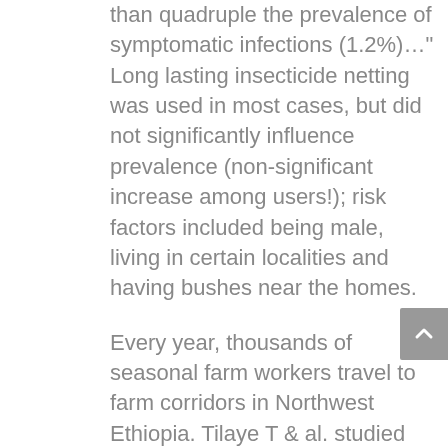than quadruple the prevalence of symptomatic infections (1.2%)…" Long lasting insecticide netting was used in most cases, but did not significantly influence prevalence (non-significant increase among users!); risk factors included being male, living in certain localities and having bushes near the homes.
Every year, thousands of seasonal farm workers travel to farm corridors in Northwest Ethiopia. Tilaye T & al. studied malaria in this population and reported in Malaria Infection is High at Transit and Destination Phases Among Seasonal Migrant Workers in Development Corridors of Northwest Ethiopia: A Repeated Cross-Sectional Study. Pan Pan Trans Med 2021 M...